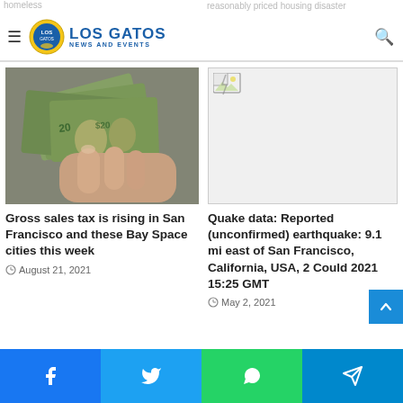Los Gatos News and Events
homeless ... reasonably priced housing disaster — November 2, 2021
[Figure (photo): Hands holding a fan of US dollar bills]
Gross sales tax is rising in San Francisco and these Bay Space cities this week
August 21, 2021
[Figure (photo): Broken image placeholder]
Quake data: Reported (unconfirmed) earthquake: 9.1 mi east of San Francisco, California, USA, 2 Could 2021 15:25 GMT
May 2, 2021
Facebook | Twitter | WhatsApp | Telegram